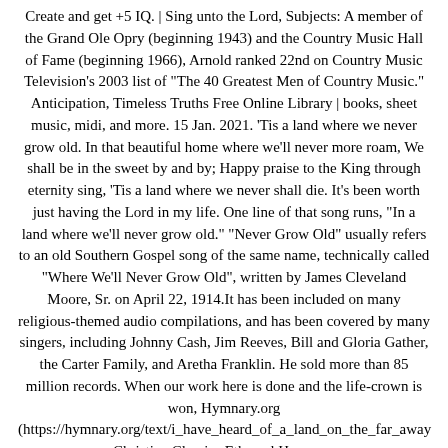Create and get +5 IQ. | Sing unto the Lord, Subjects: A member of the Grand Ole Opry (beginning 1943) and the Country Music Hall of Fame (beginning 1966), Arnold ranked 22nd on Country Music Television's 2003 list of "The 40 Greatest Men of Country Music." Anticipation, Timeless Truths Free Online Library | books, sheet music, midi, and more. 15 Jan. 2021. ‘Tis a land where we never grow old. In that beautiful home where we’ll never more roam, We shall be in the sweet by and by; Happy praise to the King through eternity sing, ‘Tis a land where we never shall die. It’s been worth just having the Lord in my life. One line of that song runs, "In a land where we’ll never grow old." "Never Grow Old" usually refers to an old Southern Gospel song of the same name, technically called "Where We'll Never Grow Old", written by James Cleveland Moore, Sr. on April 22, 1914.It has been included on many religious-themed audio compilations, and has been covered by many singers, including Johnny Cash, Jim Reeves, Bill and Gloria Gather, the Carter Family, and Aretha Franklin. He sold more than 85 million records. When our work here is done and the life-crown is won, Hymnary.org (https://hymnary.org/text/i_have_heard_of_a_land_on_the_far_away Christian Classics Ethereal Hymnary (http://ccel.org/cceh/0009/x000936.htm). Christian lyrics from www.traditionalmusic.co.uk From: "oldtimer" Performer: The Stanley Brothers [A] In the bible we read of a city With [D] streets that are paved with pure [A] gold We will live in that city, forever